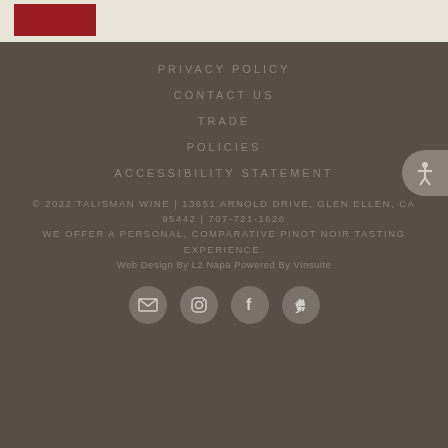[Figure (logo): Red rectangular logo box for Talisman Wine]
PRIVACY POLICY
CONTACT US
TRADE
POLICIES
ACCESSIBILITY STATEMENT
© 2022 TALISMAN WINE | 13651 ARNOLD DRIVE, GLEN ELLEN, CA 95442 | 707-721-1628
WE OFFER A PERSONAL, COMPARATIVE PINOT NOIR TASTING EXPERIENCE.
Web Design By L2 Napa Powered By Vinsuite
[Figure (illustration): Social media icons: email, instagram, facebook, yelp]